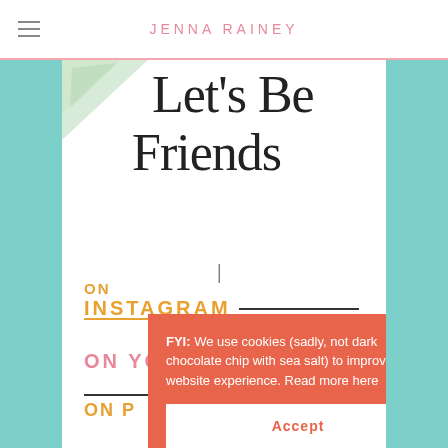JENNA RAINEY
[Figure (illustration): Handwritten script text reading 'Let's Be Friends' with a small arrow pointing down, on white background with teal side panels and a watercolor green triangle in the top left corner of the content area.]
ON
INSTAGRAM
ON YOUTUBE
ON P
ON F
FYI: We use cookies (sadly, not dark chocolate chip with sea salt) to improve your website experience. Read more here
Accept